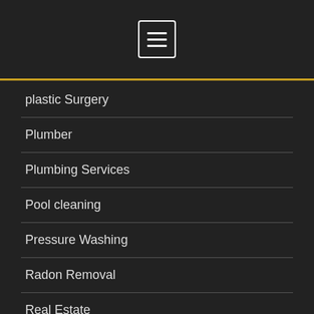[Figure (screenshot): Dark navigation header bar with hamburger menu button (three horizontal lines inside a white-bordered rectangle)]
plastic Surgery
Plumber
Plumbing Services
Pool cleaning
Pressure Washing
Radon Removal
Real Estate
Remodeling
Remodeling Contractor
Restoration Services
Roof repair